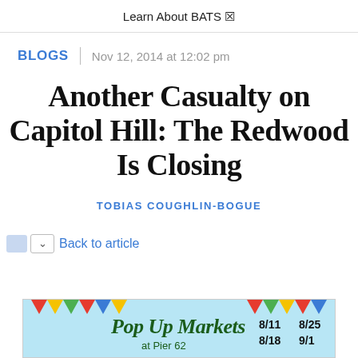Learn About BATS ☒
BLOGS | Nov 12, 2014 at 12:02 pm
Another Casualty on Capitol Hill: The Redwood Is Closing
TOBIAS COUGHLIN-BOGUE
Back to article
[Figure (illustration): Pop Up Markets advertisement banner with colorful bunting flags, text 'Pop Up Markets at Pier 62' with dates 8/11, 8/25, 8/18, 9/1]